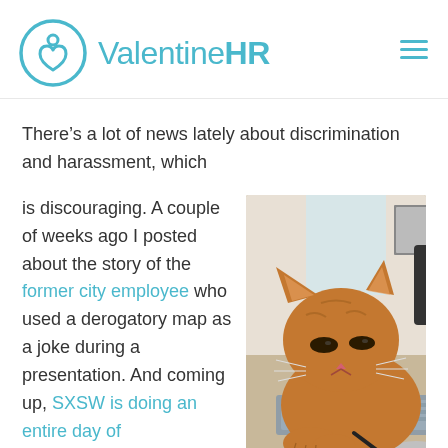ValentineHR
There’s a lot of news lately about discrimination and harassment, which
is discouraging. A couple of weeks ago I posted about the story of the former city employee who used a derogatory map as a joke during a presentation. And coming up, SXSW is doing an entire day of
[Figure (photo): An orange tabby cat sitting on a desk in front of a laptop, being petted by a person in a grey shirt]